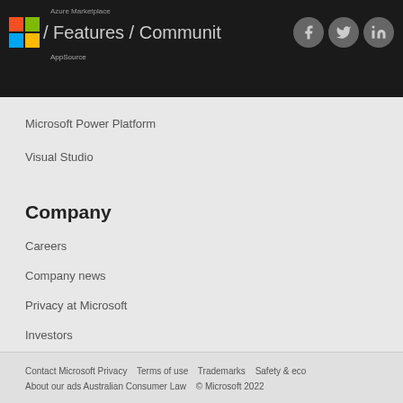Azure Marketplace / Features / Community
Microsoft Power Platform
Visual Studio
Company
Careers
Company news
Privacy at Microsoft
Investors
Sustainability
Contact Microsoft   Privacy   Terms of use   Trademarks   Safety & eco   About our ads   Australian Consumer Law   © Microsoft 2022